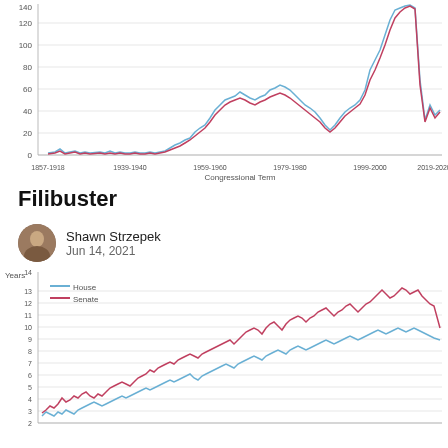[Figure (line-chart): Line chart showing filibuster-related counts over Congressional terms from 1857-1918 to 2019-2020, with blue and purple/red lines both rising sharply in recent decades]
Filibuster
Shawn Strzepek
Jun 14, 2021
[Figure (line-chart): Line chart showing average years served in House (blue) and Senate (red) over time, both trending upward, with Senate reaching ~13 years near the end]